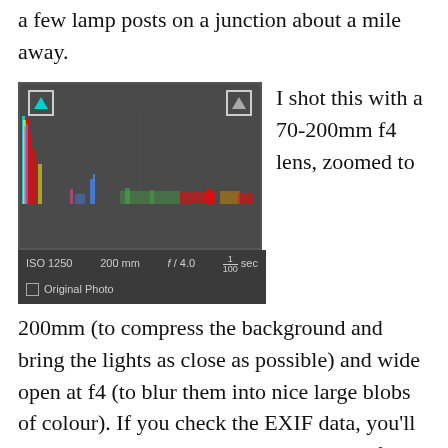a few lamp posts on a junction about a mile away.
[Figure (histogram): Lightroom histogram showing color channel distribution. Clipping indicators in top-left (cyan triangle) and top-right (gray triangle). Graph shows tall spike near shadows with red, yellow, blue, magenta colors. EXIF metadata shown below: ISO 1250, 200mm, f/4.0, 1/100 sec. Original Photo checkbox shown.]
I shot this with a 70-200mm f4 lens, zoomed to 200mm (to compress the background and bring the lights as close as possible) and wide open at f4 (to blur them into nice large blobs of colour). If you check the EXIF data, you'll see I was a quite a high ISO at 1/100th of a second. I needed to give the traffic lights in the background time to burn in, but shooting hand held at